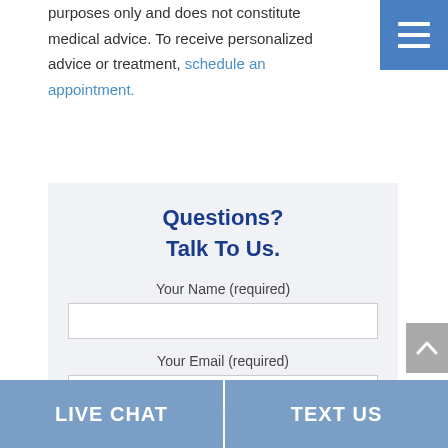purposes only and does not constitute medical advice. To receive personalized advice or treatment, schedule an appointment.
Questions?
Talk To Us.
Your Name (required)
Your Email (required)
LIVE CHAT   TEXT US